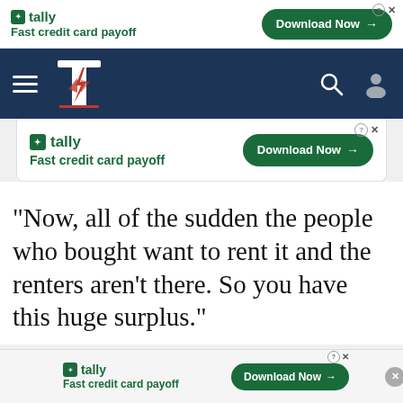[Figure (screenshot): Tally ad banner at top: tally logo, 'Fast credit card payoff', Download Now button with arrow]
[Figure (screenshot): Navigation bar with dark navy background, hamburger menu, site logo (lightning bolt T), search icon, user icon]
[Figure (screenshot): Second Tally ad banner: tally logo, 'Fast credit card payoff', Download Now button]
“Now, all of the sudden the people who bought want to rent it and the renters aren’t there. So you have this huge surplus.”
[Figure (screenshot): Bottom Tally ad banner: tally logo, 'Fast credit card payoff', Download Now button]